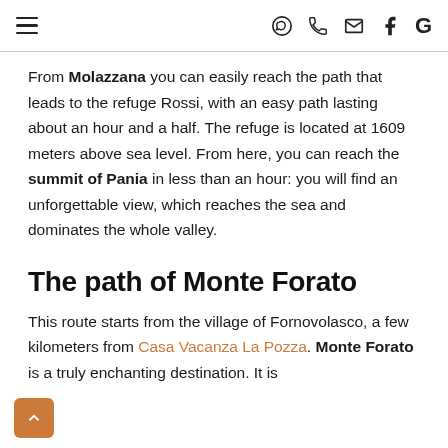≡  [WhatsApp] [Phone] [Email] [Facebook] G
From Molazzana you can easily reach the path that leads to the refuge Rossi, with an easy path lasting about an hour and a half. The refuge is located at 1609 meters above sea level. From here, you can reach the summit of Pania in less than an hour: you will find an unforgettable view, which reaches the sea and dominates the whole valley.
The path of Monte Forato
This route starts from the village of Fornovolasco, a few kilometers from Casa Vacanza La Pozza. Monte Forato is a truly enchanting destination. It is